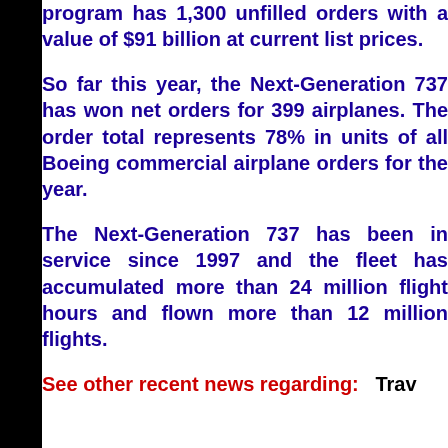program has 1,300 unfilled orders with a value of $91 billion at current list prices.
So far this year, the Next-Generation 737 has won net orders for 399 airplanes. The order total represents 78% in units of all Boeing commercial airplane orders for the year.
The Next-Generation 737 has been in service since 1997 and the fleet has accumulated more than 24 million flight hours and flown more than 12 million flights.
See other recent news regarding:    Travel